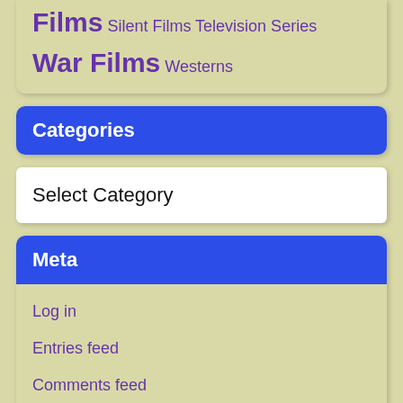Films Silent Films Television Series War Films Westerns
Categories
Select Category
Meta
Log in
Entries feed
Comments feed
WordPress.org
Recent Comments